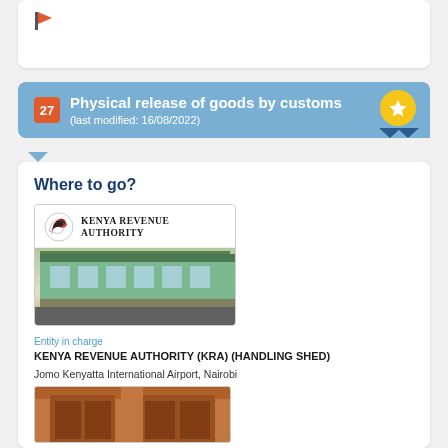[Figure (other): White card with orange flag icon at top]
27 Physical release of goods by customs (last modified: 16/08/2022)
Where to go?
[Figure (logo): Kenya Revenue Authority logo and building photo]
Entity in charge
KENYA REVENUE AUTHORITY (KRA) (HANDLING SHED)
Jomo Kenyatta International Airport, Nairobi
[Figure (photo): Photo of building entrance/door facade]